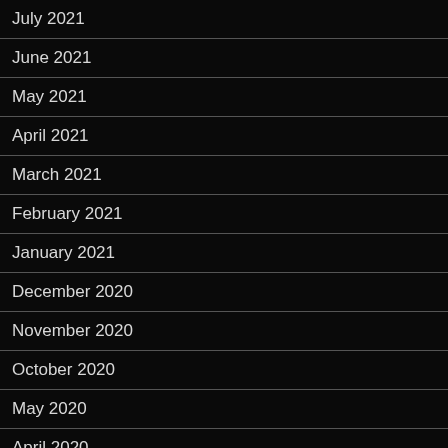July 2021
June 2021
May 2021
April 2021
March 2021
February 2021
January 2021
December 2020
November 2020
October 2020
May 2020
April 2020
March 2020